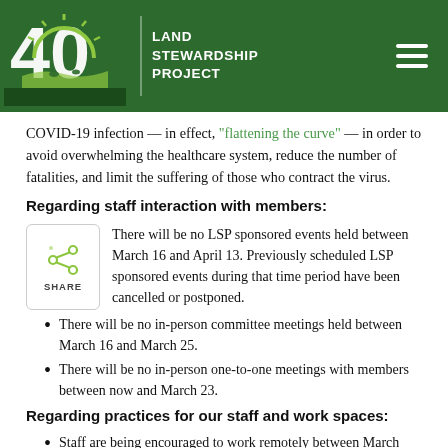Land Stewardship Project
COVID-19 infection — in effect, "flattening the curve" — in order to avoid overwhelming the healthcare system, reduce the number of fatalities, and limit the suffering of those who contract the virus.
Regarding staff interaction with members:
There will be no LSP sponsored events held between March 16 and April 13. Previously scheduled LSP sponsored events during that time period have been cancelled or postponed.
There will be no in-person committee meetings held between March 16 and March 25.
There will be no in-person one-to-one meetings with members between now and March 23.
Regarding practices for our staff and work spaces:
Staff are being encouraged to work remotely between March 16 and April 13.